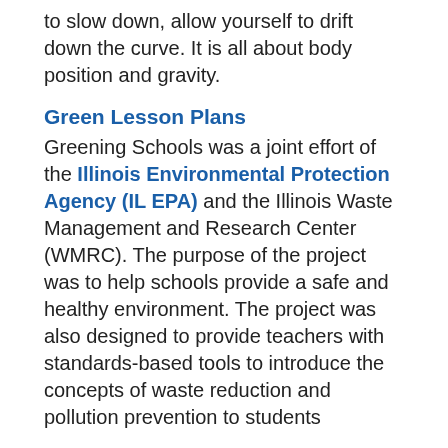to slow down, allow yourself to drift down the curve. It is all about body position and gravity.
Green Lesson Plans
Greening Schools was a joint effort of the Illinois Environmental Protection Agency (IL EPA) and the Illinois Waste Management and Research Center (WMRC). The purpose of the project was to help schools provide a safe and healthy environment. The project was also designed to provide teachers with standards-based tools to introduce the concepts of waste reduction and pollution prevention to students
Environmentally Friendly Cars
The environmentally friendly car (also known as the green car, or eco friendly car) is a vehicle that emits low carbon compounds when it runs. The low emission